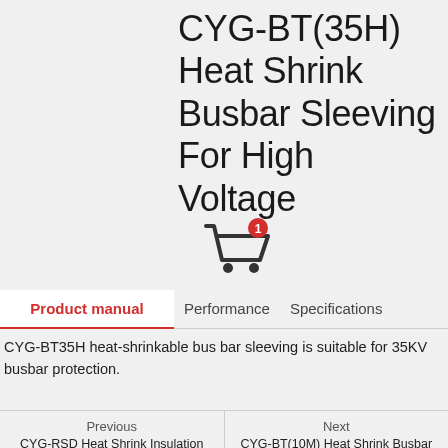CYG-BT(35H) Heat Shrink Busbar Sleeving For High Voltage
[Figure (illustration): Shopping cart icon with a red badge showing the number 1]
Product manual
CYG-BT35H heat-shrinkable bus bar sleeving is suitable for 35KV busbar protection.
Previous: CYG-RSD Heat Shrink Insulation | Next: CYG-BT(10M) Heat Shrink Busbar